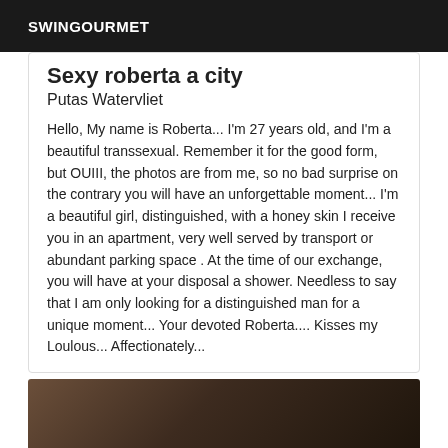SWINGOURMET
Sexy roberta a city
Putas Watervliet
Hello, My name is Roberta... I'm 27 years old, and I'm a beautiful transsexual. Remember it for the good form, but OUIII, the photos are from me, so no bad surprise on the contrary you will have an unforgettable moment... I'm a beautiful girl, distinguished, with a honey skin I receive you in an apartment, very well served by transport or abundant parking space . At the time of our exchange, you will have at your disposal a shower. Needless to say that I am only looking for a distinguished man for a unique moment... Your devoted Roberta.... Kisses my Loulous... Affectionately...
[Figure (photo): Dark-toned photo showing a person with dark hair, cropped, with an 'Online' badge overlay in the bottom right corner]